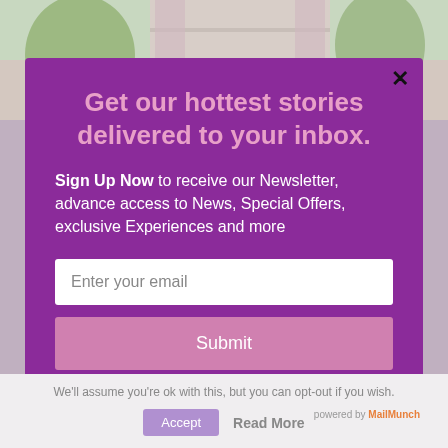[Figure (photo): Background photo of a house exterior with trees, partially visible behind the modal popup]
Get our hottest stories delivered to your inbox.
Sign Up Now to receive our Newsletter, advance access to News, Special Offers, exclusive Experiences and more
Enter your email
Submit
We'll assume you're ok with this, but you can opt-out if you wish.
Accept
Read More
powered by MailMunch